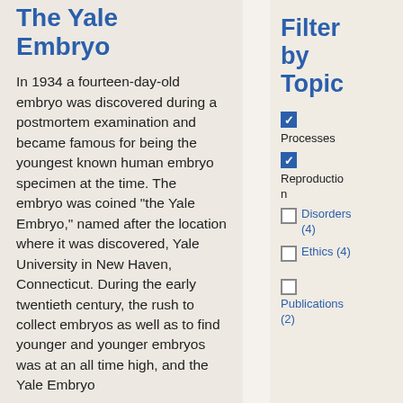The Yale Embryo
In 1934 a fourteen-day-old embryo was discovered during a postmortem examination and became famous for being the youngest known human embryo specimen at the time. The embryo was coined "the Yale Embryo," named after the location where it was discovered, Yale University in New Haven, Connecticut. During the early twentieth century, the rush to collect embryos as well as to find younger and younger embryos was at an all time high, and the Yale Embryo
Filter by Topic
Processes (checked)
Reproduction (checked)
Disorders (4)
Ethics (4)
Publications (2)